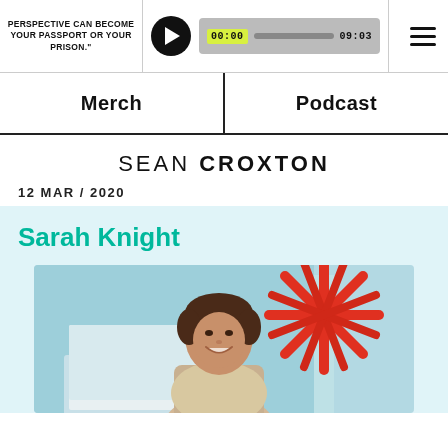PERSPECTIVE CAN BECOME YOUR PASSPORT OR YOUR PRISON.
00:00  09:03
Merch   Podcast
SEAN CROXTON
12 MAR / 2020
Sarah Knight
[Figure (photo): Photo of Sarah Knight, a smiling woman with short dark hair, seated in front of a teal/light blue background with a large red starburst/snowflake decorative object behind her]